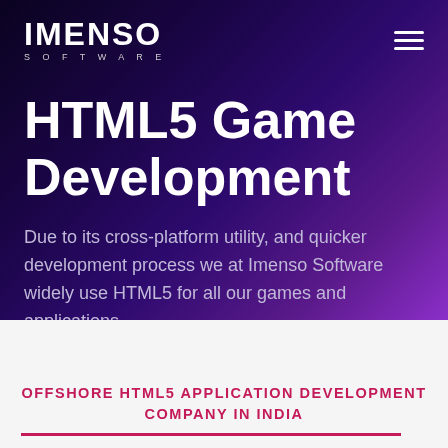[Figure (logo): Imenso Software logo — white bold IMENSO with S O F T W A R E subtitle]
HTML5 Game Development
Due to its cross-platform utility, and quicker development process we at Imenso Software widely use HTML5 for all our games and applications.
OFFSHORE HTML5 APPLICATION DEVELOPMENT COMPANY IN INDIA